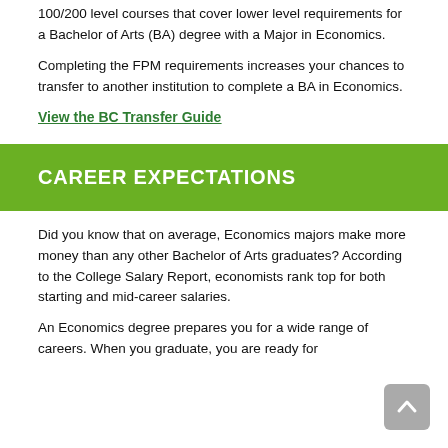100/200 level courses that cover lower level requirements for a Bachelor of Arts (BA) degree with a Major in Economics.
Completing the FPM requirements increases your chances to transfer to another institution to complete a BA in Economics.
View the BC Transfer Guide
CAREER EXPECTATIONS
Did you know that on average, Economics majors make more money than any other Bachelor of Arts graduates? According to the College Salary Report, economists rank top for both starting and mid-career salaries.
An Economics degree prepares you for a wide range of careers. When you graduate, you are ready for